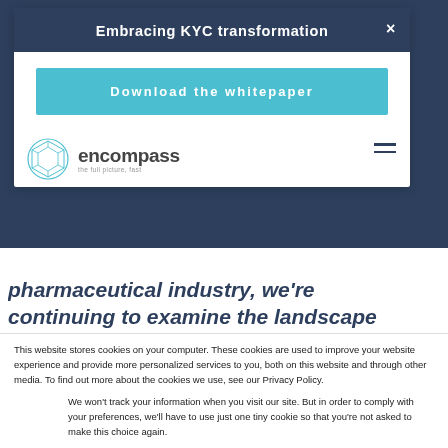Embracing KYC transformation
Download the whitepaper
[Figure (logo): Encompass logo with geometric sphere icon and tagline 'the full picture, fast']
pharmaceutical industry, we're continuing to examine the landscape – this time with a
This website stores cookies on your computer. These cookies are used to improve your website experience and provide more personalized services to you, both on this website and through other media. To find out more about the cookies we use, see our Privacy Policy.
We won't track your information when you visit our site. But in order to comply with your preferences, we'll have to use just one tiny cookie so that you're not asked to make this choice again.
Accept
Decline